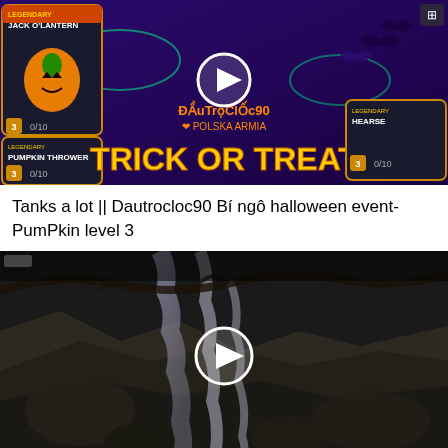[Figure (screenshot): Video thumbnail for a Tanks a Lot game Halloween event showing 'TRICK OR TREAT' text with pumpkin and Halloween game characters, username 'DautroclOc90 PolskaArmia', cards for Jack O'Lantern, Pumpkin Thrower, and Hearse with play button overlay]
Tanks a lot || Dautrocloc90 Bí ngô halloween event- PumPkin level 3
[Figure (screenshot): Video thumbnail showing a dark nature scene with a waterfall or stream flowing over rocks, with a play button overlay in the center]